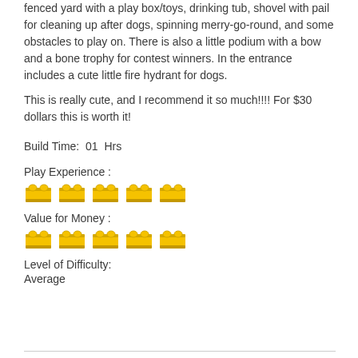fenced yard with a play box/toys, drinking tub, shovel with pail for cleaning up after dogs, spinning merry-go-round, and some obstacles to play on. There is also a little podium with a bow and a bone trophy for contest winners. In the entrance includes a cute little fire hydrant for dogs.
This is really cute, and I recommend it so much!!!! For $30 dollars this is worth it!
Build Time:  01  Hrs
Play Experience :
[Figure (other): 5 yellow LEGO brick icons representing Play Experience rating (5 out of 5)]
Value for Money :
[Figure (other): 5 yellow LEGO brick icons representing Value for Money rating (5 out of 5)]
Level of Difficulty:
Average